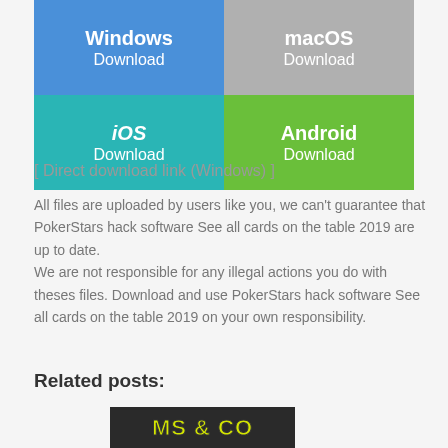[Figure (infographic): Download buttons grid: Windows (blue), macOS (gray), iOS (teal), Android (green)]
[ Direct download link (Windows) ]
All files are uploaded by users like you, we can't guarantee that PokerStars hack software See all cards on the table 2019 are up to date.
We are not responsible for any illegal actions you do with theses files. Download and use PokerStars hack software See all cards on the table 2019 on your own responsibility.
Related posts:
[Figure (screenshot): Thumbnail image showing stylized text 'MS & CO' in yellow on dark background]